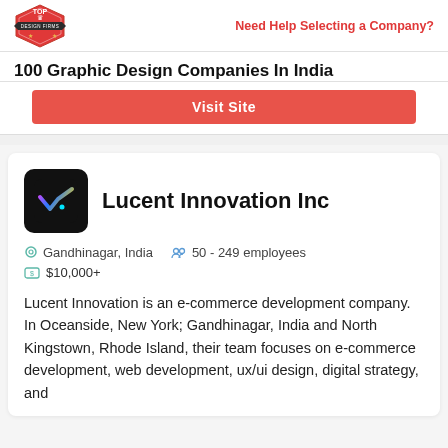Top Design Firms | Need Help Selecting a Company?
100 Graphic Design Companies In India
[Figure (other): Red Visit Site button]
Lucent Innovation Inc
Gandhinagar, India   50 - 249 employees
$10,000+
Lucent Innovation is an e-commerce development company. In Oceanside, New York; Gandhinagar, India and North Kingstown, Rhode Island, their team focuses on e-commerce development, web development, ux/ui design, digital strategy, and